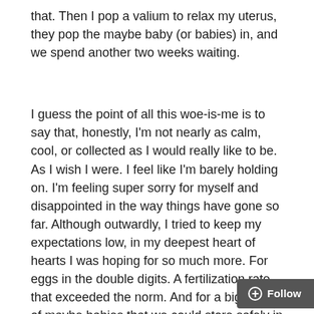that. Then I pop a valium to relax my uterus, they pop the maybe baby (or babies) in, and we spend another two weeks waiting.
I guess the point of all this woe-is-me is to say that, honestly, I'm not nearly as calm, cool, or collected as I would really like to be. As I wish I were. I feel like I'm barely holding on. I'm feeling super sorry for myself and disappointed in the way things have gone so far. Although outwardly, I tried to keep my expectations low, in my deepest heart of hearts I was hoping for so much more. For eggs in the double digits. A fertilization rate that exceeded the norm. And for a big batch of maybe babies that we could store safely in the freezer and use to grow our family one transfer at a time.
But that's not life. Certainly not mine. If things wo